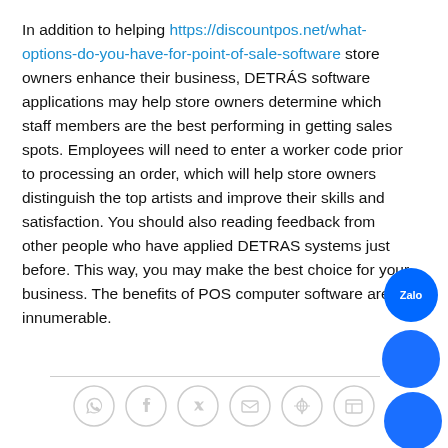In addition to helping https://discountpos.net/what-options-do-you-have-for-point-of-sale-software store owners enhance their business, DETRAS software applications may help store owners determine which staff members are the best performing in getting sales spots. Employees will need to enter a worker code prior to processing an order, which will help store owners distinguish the top artists and improve their skills and satisfaction. You should also reading feedback from other people who have applied DETRAS systems just before. This way, you may make the best choice for your business. The benefits of POS computer software are innumerable.
[Figure (illustration): Social sharing icons row: WhatsApp, Facebook, Twitter, Email, Pinterest, LinkedIn — all in light grey circle outlines]